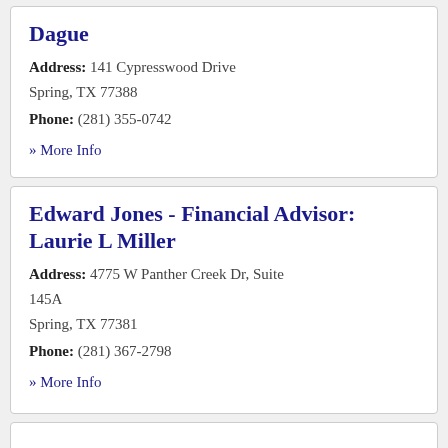Dague
Address: 141 Cypresswood Drive Spring, TX 77388
Phone: (281) 355-0742
» More Info
Edward Jones - Financial Advisor: Laurie L Miller
Address: 4775 W Panther Creek Dr, Suite 145A Spring, TX 77381
Phone: (281) 367-2798
» More Info